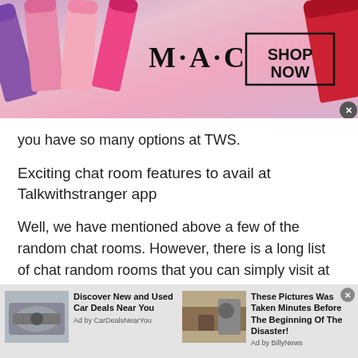[Figure (advertisement): MAC cosmetics ad banner with colorful lipsticks, MAC logo, and SHOP NOW button]
you have so many options at TWS.
Exciting chat room features to avail at Talkwithstranger app
Well, we have mentioned above a few of the random chat rooms. However, there is a long list of chat random rooms that you can simply visit at the Talkwithstranger app. Let's have a quick round-up of TWS exciting chat room features that you will b
[Figure (advertisement): Two bottom ad banners: 'Discover New and Used Car Deals Near You' by CarDealsNearYou, and 'These Pictures Was Taken Minutes Before The Beginning Of The Disaster!' by BillyNews]